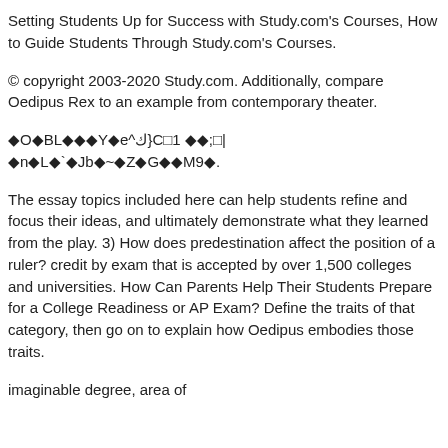Setting Students Up for Success with Study.com's Courses, How to Guide Students Through Study.com's Courses.
© copyright 2003-2020 Study.com. Additionally, compare Oedipus Rex to an example from contemporary theater.
◆O◆BL◆◆◆Y◆e^ك}C□1 ◆◆;□| ◆n◆L◆`◆Jb◆~◆Z◆G◆◆M9◆.
The essay topics included here can help students refine and focus their ideas, and ultimately demonstrate what they learned from the play. 3) How does predestination affect the position of a ruler? credit by exam that is accepted by over 1,500 colleges and universities. How Can Parents Help Their Students Prepare for a College Readiness or AP Exam? Define the traits of that category, then go on to explain how Oedipus embodies those traits.
imaginable degree, area of